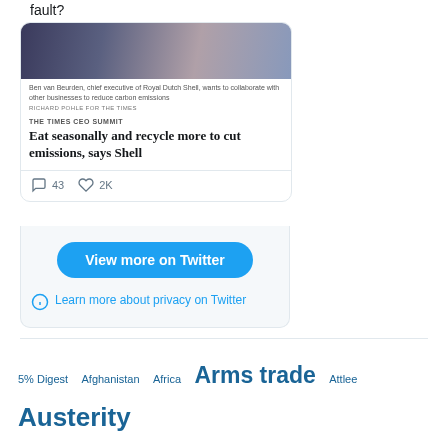fault?
[Figure (photo): Photo of Ben van Beurden, chief executive of Royal Dutch Shell, at an event]
Ben van Beurden, chief executive of Royal Dutch Shell, wants to collaborate with other businesses to reduce carbon emissions
RICHARD POHLE FOR THE TIMES
THE TIMES CEO SUMMIT
Eat seasonally and recycle more to cut emissions, says Shell
43  2K
View more on Twitter
Learn more about privacy on Twitter
5% Digest  Afghanistan  Africa  Arms trade  Attlee  Austerity  Australia  Banking  Banksters  Basic Income  Bethlehem  Breast